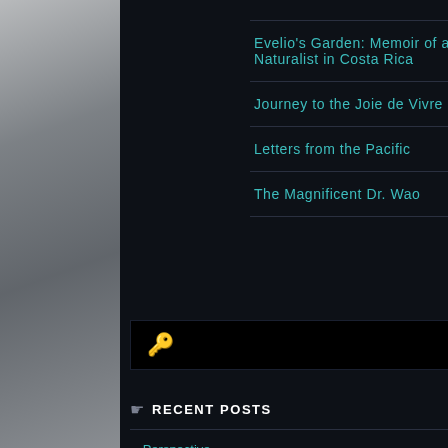[Figure (photo): Storm cloud / dark sky photograph forming the left background column]
Evelio's Garden: Memoir of a Naturalist in Costa Rica
Journey to the Joie de Vivre
Letters from the Pacific
The Magnificent Dr. Wao
RECENT POSTS
Perspective
[Figure (photo): Orange and red abstract flower or geological formation photograph on the right side]